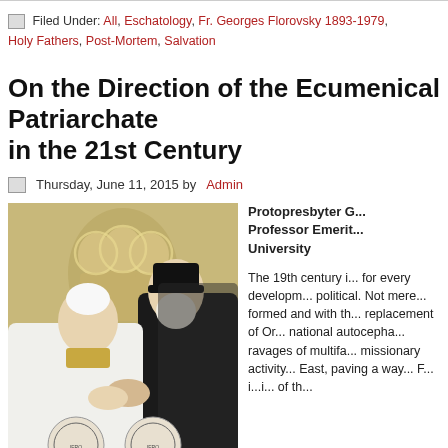Filed Under: All, Eschatology, Fr. Georges Florovsky 1893-1979, Holy Fathers, Post-Mortem, Salvation
On the Direction of the Ecumenical Patriarchate in the 21st Century
Thursday, June 11, 2015 by Admin
[Figure (photo): Photo of Pope Francis and Patriarch Bartholomew greeting each other, with an icon painting of religious figures in the background. Two circular seals visible at the bottom.]
Protopresbyter G... Professor Emerit... University

The 19th century i... for every developm... political. Not mere... formed and with th... replacement of Or... national autocepha... ravages of multifa... missionary activity... East, paving a way... F... i...i... of th...